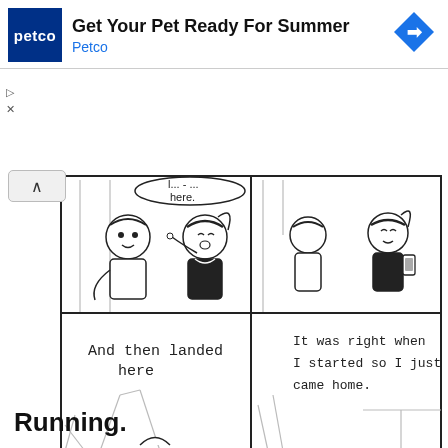[Figure (illustration): Petco advertisement banner with Petco logo (blue square with white 'petco' text), heading 'Get Your Pet Ready For Summer', subtext 'Petco', and a blue diamond navigation icon on the right.]
[Figure (illustration): Four-panel black and white comic strip showing two characters (a boy and a girl with a ponytail) talking. Panel 1: girl pointing, speech bubble partially visible with 'here.' Panel 2: girl holding phone, both characters visible. Panel 3: empty speech bubble with text 'And then landed here'. Panel 4: speech bubble reads 'It was right when I started so I just came home.']
Running.